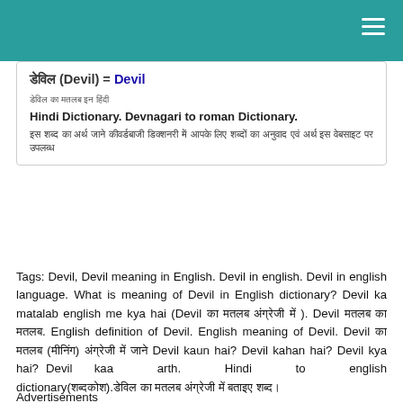डेविल (Devil) = Devil
डेविल का मतलब इन हिंदी
Hindi Dictionary. Devnagari to roman Dictionary. इस शब्द का अर्थ जाने कीवर्डबाजी डिक्शनरी में आपके लिए शब्दों का अनुवाद एवं अर्थ इस वेबसाइट पर उपलब्ध
Tags: Devil, Devil meaning in English. Devil in english. Devil in english language. What is meaning of Devil in English dictionary? Devil ka matalab english me kya hai (Devil का मतलब अंग्रेजी में ). Devil मतलब का मतलब. English definition of Devil. English meaning of Devil. Devil का मतलब (मीनिंग) अंग्रेजी में जाने Devil kaun hai? Devil kahan hai? Devil kya hai? Devil kaa arth. Hindi to english dictionary(शब्दकोश).डेविल का मतलब अंग्रेजी में बताइए शब्द।
Advertisements